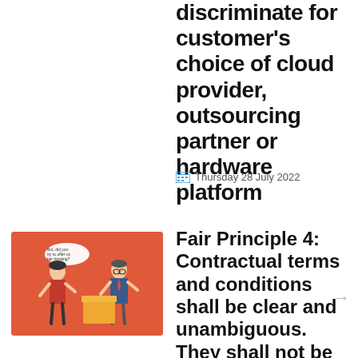discriminate for customer's choice of cloud provider, outsourcing partner or hardware platform
Thursday 28 July 2022
[Figure (illustration): Cartoon illustration on orange background showing two people in a discussion, with speech bubbles]
Fair Principle 4: Contractual terms and conditions shall be clear and unambiguous. They shall not be